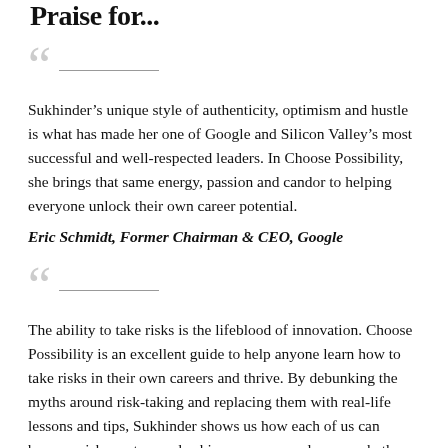Praise for...
Sukhinder’s unique style of authenticity, optimism and hustle is what has made her one of Google and Silicon Valley’s most successful and well-respected leaders. In Choose Possibility, she brings that same energy, passion and candor to helping everyone unlock their own career potential.
Eric Schmidt, Former Chairman & CEO, Google
The ability to take risks is the lifeblood of innovation. Choose Possibility is an excellent guide to help anyone learn how to take risks in their own careers and thrive. By debunking the myths around risk-taking and replacing them with real-life lessons and tips, Sukhinder shows us how each of us can become risk-masters and achieve our career dreams, whether